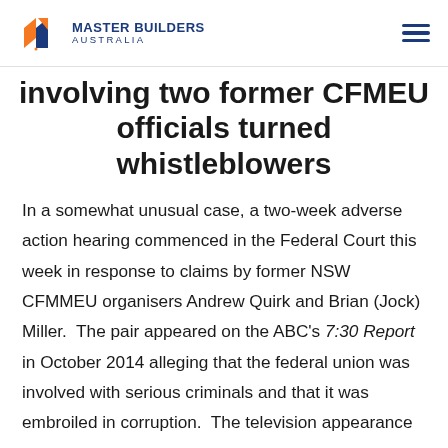[Figure (logo): Master Builders Australia logo with orange and blue geometric icon and text]
involving two former CFMEU officials turned whistleblowers
In a somewhat unusual case, a two-week adverse action hearing commenced in the Federal Court this week in response to claims by former NSW CFMMEU organisers Andrew Quirk and Brian (Jock) Miller.  The pair appeared on the ABC's 7:30 Report in October 2014 alleging that the federal union was involved with serious criminals and that it was embroiled in corruption.  The television appearance